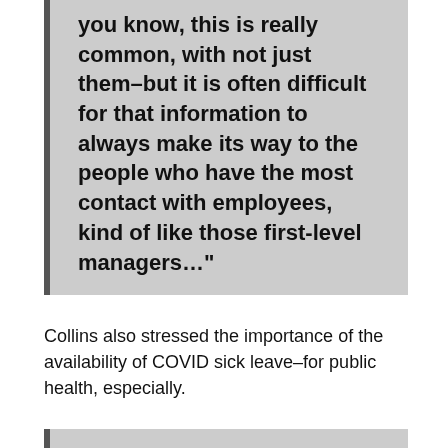you know, this is really common, with not just them–but it is often difficult for that information to always make its way to the people who have the most contact with employees, kind of like those first-level managers…"
Collins also stressed the importance of the availability of COVID sick leave–for public health, especially.
"…So we don't know how many other people, for example, were like, 'Oh, I'm not really feeling that great today, but I'm gonna go to work anyway because I don't have paid sick leave,'" said Collins. "